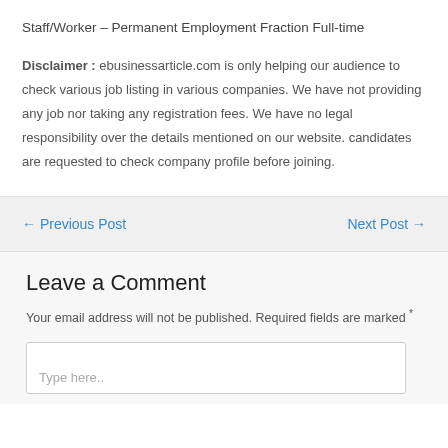Staff/Worker – Permanent Employment Fraction Full-time
Disclaimer : ebusinessarticle.com is only helping our audience to check various job listing in various companies. We have not providing any job nor taking any registration fees. We have no legal responsibility over the details mentioned on our website. candidates are requested to check company profile before joining.
← Previous Post
Next Post →
Leave a Comment
Your email address will not be published. Required fields are marked *
Type here..